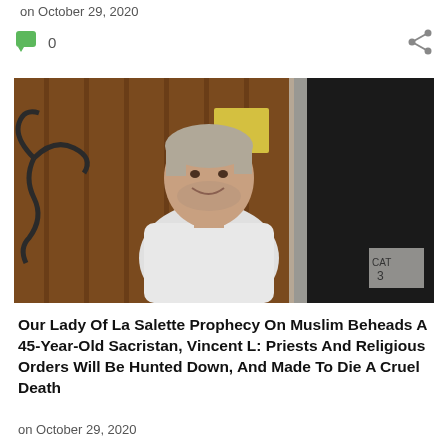on October 29, 2020
[Figure (photo): Middle-aged man with grey hair and beard, wearing a white t-shirt, smiling in front of a wooden door with decorative ironwork]
Our Lady Of La Salette Prophecy On Muslim Beheads A 45-Year-Old Sacristan, Vincent L: Priests And Religious Orders Will Be Hunted Down, And Made To Die A Cruel Death
on October 29, 2020